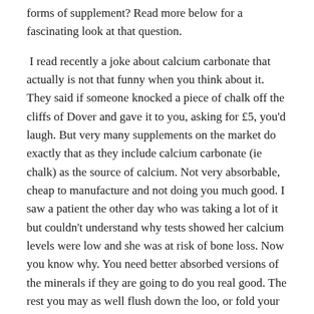forms of supplement? Read more below for a fascinating look at that question.
I read recently a joke about calcium carbonate that actually is not that funny when you think about it. They said if someone knocked a piece of chalk off the cliffs of Dover and gave it to you, asking for £5, you'd laugh. But very many supplements on the market do exactly that as they include calcium carbonate (ie chalk) as the source of calcium. Not very absorbable, cheap to manufacture and not doing you much good. I saw a patient the other day who was taking a lot of it but couldn't understand why tests showed her calcium levels were low and she was at risk of bone loss. Now you know why. You need better absorbed versions of the minerals if they are going to do you real good. The rest you may as well flush down the loo, or fold your fivers, flush them and save yourself the trip to the shops!